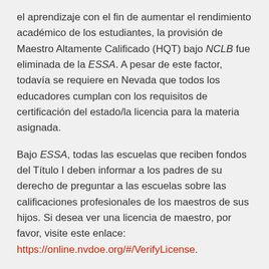el aprendizaje con el fin de aumentar el rendimiento académico de los estudiantes, la provisión de Maestro Altamente Calificado (HQT) bajo NCLB fue eliminada de la ESSA. A pesar de este factor, todavía se requiere en Nevada que todos los educadores cumplan con los requisitos de certificación del estado/la licencia para la materia asignada.
Bajo ESSA, todas las escuelas que reciben fondos del Título I deben informar a los padres de su derecho de preguntar a las escuelas sobre las calificaciones profesionales de los maestros de sus hijos. Si desea ver una licencia de maestro, por favor, visite este enlace: https://online.nvdoe.org/#/VerifyLicense.
Se anima a los padres a apoyar la educación de sus hijos y a comunicarse con los maestros de sus hijos de manera regular. Para obtener más información sobre ESSA y el papel de los padres, visite el sitio web del Departamento de Educación de los Estados Unidos en https://www2.ed.gov/policy/elsec/leg/essa/index.html.